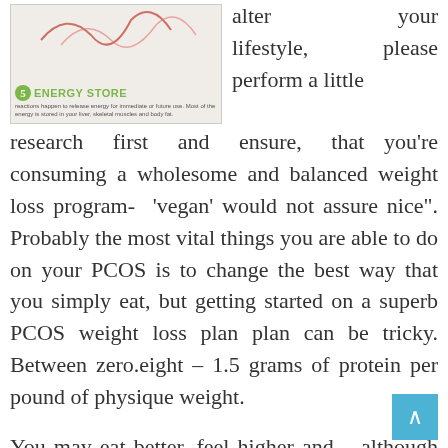[Figure (infographic): Infographic panel showing '5 ENERGY STORE' with red/pink lines on a light background and descriptive text: 'reactions happen to release energy for immediate or future use. Most of the energy is stored in your liver, skeletal muscles and body fat.']
alter your lifestyle, please perform a little research first and ensure, that you're consuming a wholesome and balanced weight loss program- 'vegan' would not assure nice". Probably the most vital things you are able to do on your PCOS is to change the best way that you simply eat, but getting started on a superb PCOS weight loss plan plan can be tricky. Between zero.eight – 1.5 grams of protein per pound of physique weight.
You may eat better, feel higher and – although not designed as a weight reduction plan – may even shed just a few pounds. I learn that